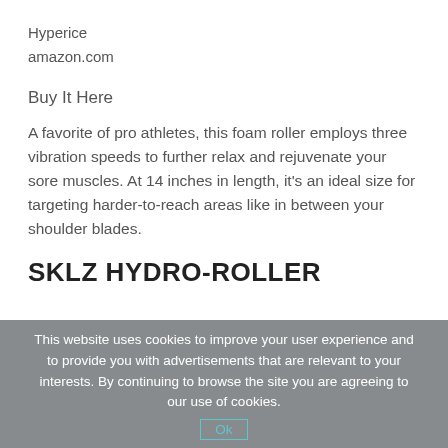Hyperice
amazon.com
Buy It Here
A favorite of pro athletes, this foam roller employs three vibration speeds to further relax and rejuvenate your sore muscles. At 14 inches in length, it's an ideal size for targeting harder-to-reach areas like in between your shoulder blades.
SKLZ HYDRO-ROLLER
This website uses cookies to improve your user experience and to provide you with advertisements that are relevant to your interests. By continuing to browse the site you are agreeing to our use of cookies.
Ok